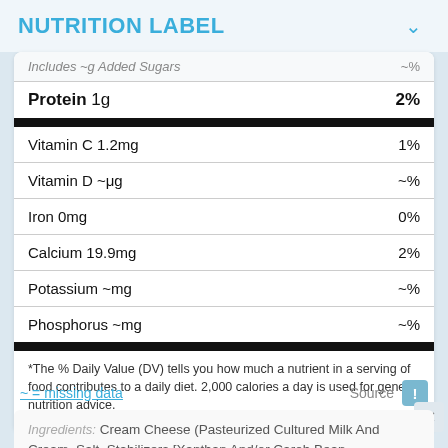NUTRITION LABEL
| Nutrient | % Daily Value |
| --- | --- |
| Includes ~g Added Sugars | ~% |
| Protein 1g | 2% |
| Vitamin C 1.2mg | 1% |
| Vitamin D ~μg | ~% |
| Iron 0mg | 0% |
| Calcium 19.9mg | 2% |
| Potassium ~mg | ~% |
| Phosphorus ~mg | ~% |
*The % Daily Value (DV) tells you how much a nutrient in a serving of food contributes to a daily diet. 2,000 calories a day is used for general nutrition advice.
~ = missing data
Source
Ingredients: Cream Cheese (Pasteurized Cultured Milk And Cream, Salt, Stabilizers [Xanthan And/or Carob Bean